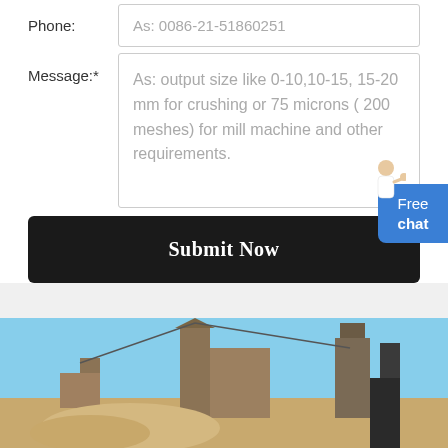Phone:
As: 0086-21-51860251
Message:*
As: output size like 0-10,10-15, 15-20 mm for crushing or 75 microns ( 200 meshes) for mill machine and other requirements.
Submit Now
[Figure (photo): Outdoor industrial construction site with heavy machinery, metal structures, and equipment under a blue sky.]
Free chat